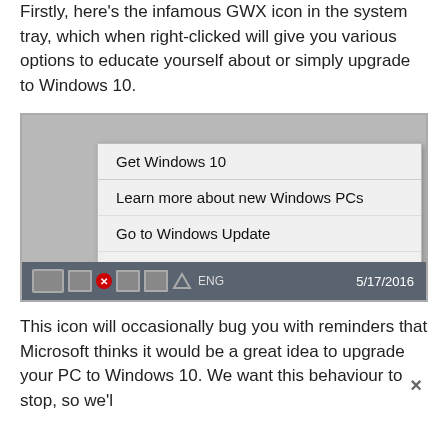Firstly, here's the infamous GWX icon in the system tray, which when right-clicked will give you various options to educate yourself about or simply upgrade to Windows 10.
[Figure (screenshot): Screenshot of Windows taskbar system tray showing a right-click context menu for the GWX (Get Windows 10) icon with options: Get Windows 10, Learn more about new Windows PCs, Go to Windows Update, Learn about Windows 10. The taskbar shows date 5/17/2016.]
This icon will occasionally bug you with reminders that Microsoft thinks it would be a great idea to upgrade your PC to Windows 10. We want this behaviour to stop, so we'l